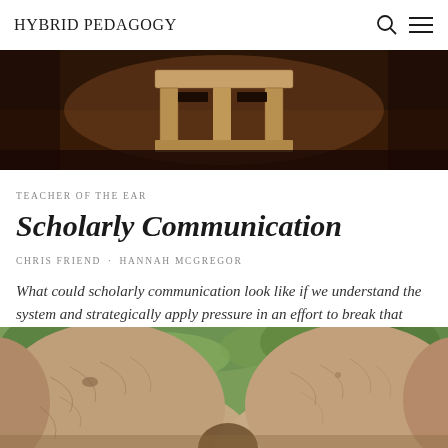HYBRID PEDAGOGY
[Figure (photo): A wooden pallet structure photographed in a dark warehouse setting with warm sepia tones]
TEACHER OF THE EAR
Scholarly Communication
CHRIS FRIEND · HANNAH MCGREGOR
What could scholarly communication look like if we understand the system and strategically apply pressure in an effort to break that system?
[Figure (photo): Close-up photograph of two elephants from behind, showing their wrinkled skin and ears, with green foliage in the background]